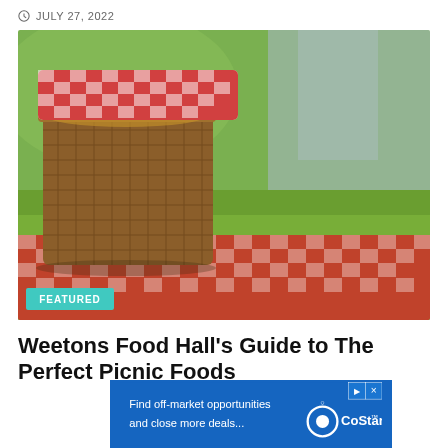JULY 27, 2022
[Figure (photo): A woven wooden picnic basket with a red and white checkered cloth lid, sitting on a red and white checkered picnic tablecloth, with a blurred green outdoor background.]
FEATURED
Weetons Food Hall's Guide to The Perfect Picnic Foods
[Figure (other): CoStar advertisement banner: 'Find off-market opportunities and close more deals...' with CoStar logo]